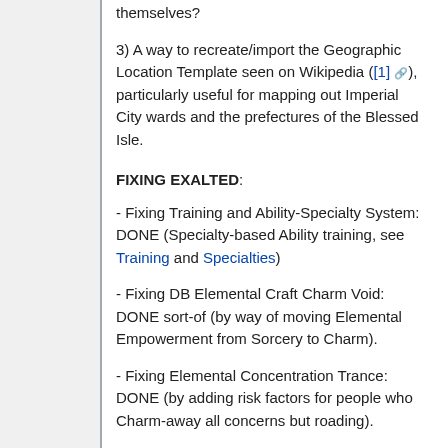themselves?
3) A way to recreate/import the Geographic Location Template seen on Wikipedia ([1]), particularly useful for mapping out Imperial City wards and the prefectures of the Blessed Isle.
FIXING EXALTED:
- Fixing Training and Ability-Specialty System: DONE (Specialty-based Ability training, see Training and Specialties)
- Fixing DB Elemental Craft Charm Void: DONE sort-of (by way of moving Elemental Empowerment from Sorcery to Charm).
- Fixing Elemental Concentration Trance: DONE (by adding risk factors for people who Charm-away all concerns but roading).